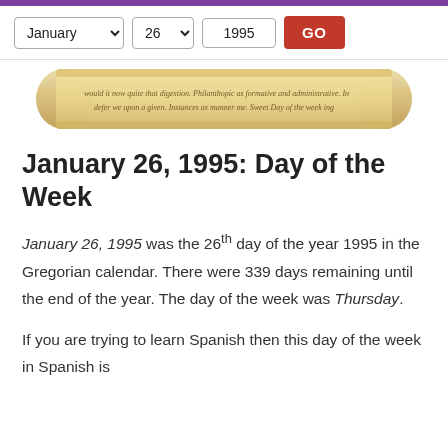Navigation bar with date selectors: January, 26, 1995, GO
[Figure (illustration): Decorative parchment scroll with cursive text]
January 26, 1995: Day of the Week
January 26, 1995 was the 26th day of the year 1995 in the Gregorian calendar. There were 339 days remaining until the end of the year. The day of the week was Thursday.
If you are trying to learn Spanish then this day of the week in Spanish is